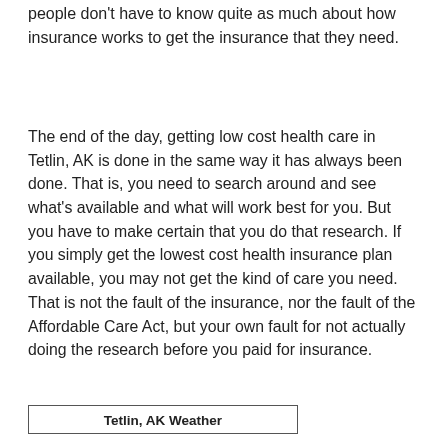people don't have to know quite as much about how insurance works to get the insurance that they need.
The end of the day, getting low cost health care in Tetlin, AK is done in the same way it has always been done. That is, you need to search around and see what's available and what will work best for you. But you have to make certain that you do that research. If you simply get the lowest cost health insurance plan available, you may not get the kind of care you need. That is not the fault of the insurance, nor the fault of the Affordable Care Act, but your own fault for not actually doing the research before you paid for insurance.
| Tetlin, AK Weather |
| --- |